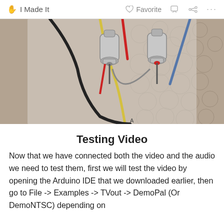I Made It   Favorite   ... ...
[Figure (photo): Close-up photo of two RCA/audio connectors with wires (black, red, yellow, blue) plugged into a transparent acrylic or plastic panel, with a patterned background.]
Testing Video
Now that we have connected both the video and the audio we need to test them, first we will test the video by opening the Arduino IDE that we downloaded earlier, then go to File -> Examples -> TVout -> DemoPal (Or DemoNTSC) depending on